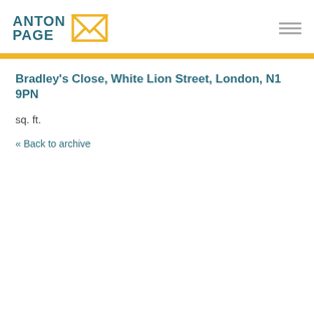ANTON PAGE
Bradley's Close, White Lion Street, London, N1 9PN
sq. ft.
« Back to archive